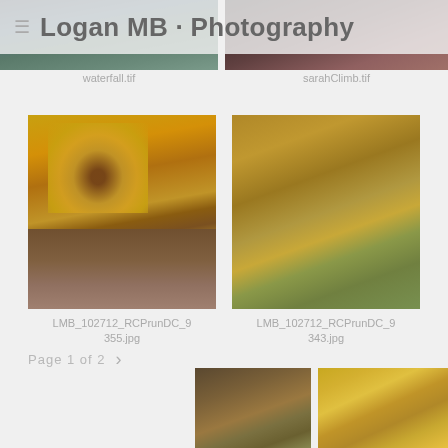Logan MB · Photography
[Figure (photo): Waterfall photo, partially visible at top of page]
waterfall.tif
[Figure (photo): Sarah climbing photo, partially visible at top of page]
sarahClimb.tif
[Figure (photo): Autumn tree with curved stone path covered in fallen leaves]
LMB_102712_RCPrunDC_9355.jpg
[Figure (photo): Autumn ground scene with fallen leaves on grass]
LMB_102712_RCPrunDC_9343.jpg
Page 1 of 2
[Figure (photo): Partially visible photo at bottom left]
[Figure (photo): Partially visible autumn foliage photo at bottom right]